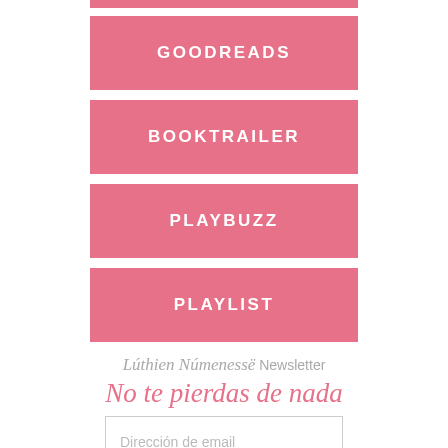GOODREADS
BOOKTRAILER
PLAYBUZZ
PLAYLIST
Lúthien Númenessë Newsletter
No te pierdas de nada
Dirección de email
SUBSCRIBE